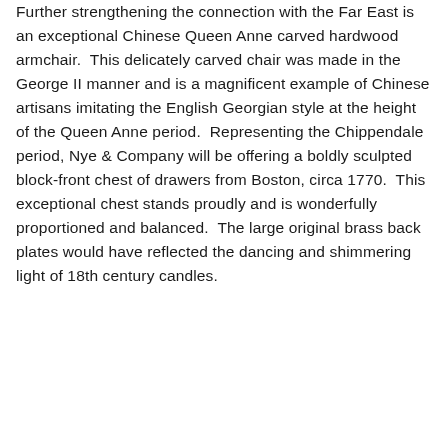Further strengthening the connection with the Far East is an exceptional Chinese Queen Anne carved hardwood armchair.  This delicately carved chair was made in the George II manner and is a magnificent example of Chinese artisans imitating the English Georgian style at the height of the Queen Anne period.  Representing the Chippendale period, Nye & Company will be offering a boldly sculpted block-front chest of drawers from Boston, circa 1770.  This exceptional chest stands proudly and is wonderfully proportioned and balanced.  The large original brass back plates would have reflected the dancing and shimmering light of 18th century candles.